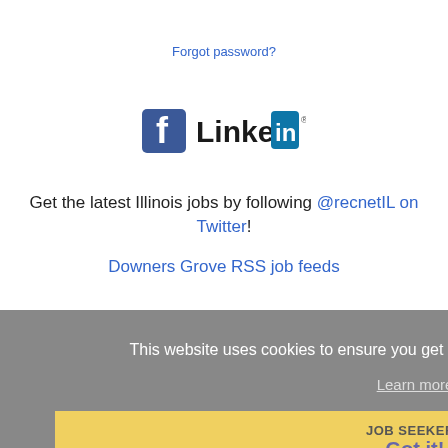Forgot password?
[Figure (logo): Facebook logo icon and LinkedIn logo side by side]
Get the latest Illinois jobs by following @recnetIL on Twitter!
Downers Grove RSS job feeds
This website uses cookies to ensure you get the best experience on our website.
Learn more
JOB SEEKERS
Got it!
Search Downers Grove jobs
Post your resume
Email job alerts